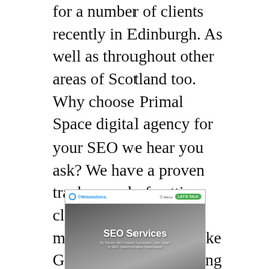for a number of clients recently in Edinburgh. As well as throughout other areas of Scotland too. Why choose Primal Space digital agency for your SEO we hear you ask? We have a proven track record of getting clients to the top of the major search engines like Google. Our SEO pricing is incredibly competitive and we get results! Its as simple as that. For us to be able to get the results you desire, we need a minimum investment of 12 hours for any SEO project to commence.
[Figure (screenshot): Screenshot of Webolutions website showing SEO Services page header with logo, navigation menu with LET'S TALK button, and hero image with text 'SEO Services' and 'By Denver SEO Expert Consultant John Vargo in SEO: Search Engine Optimization']